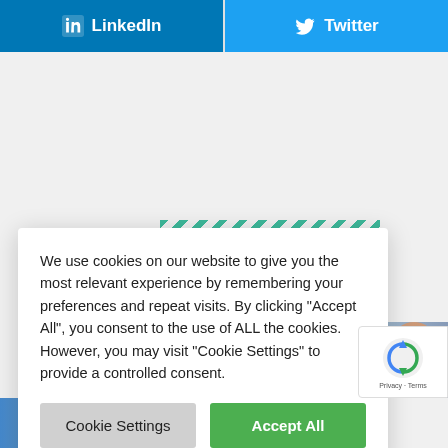[Figure (other): LinkedIn social share button (blue background, white LinkedIn icon and text)]
[Figure (other): Twitter social share button (light blue background, white Twitter bird icon and text)]
[Figure (other): Diagonal green/teal stripes decoration element]
Posts
[Figure (photo): Man in blue shirt sitting in office lounge area]
We use cookies on our website to give you the most relevant experience by remembering your preferences and repeat visits. By clicking "Accept All", you consent to the use of ALL the cookies. However, you may visit "Cookie Settings" to provide a controlled consent.
[Figure (other): Cookie Settings button (grey)]
[Figure (other): Accept All button (green)]
[Figure (other): reCAPTCHA badge with Privacy and Terms links]